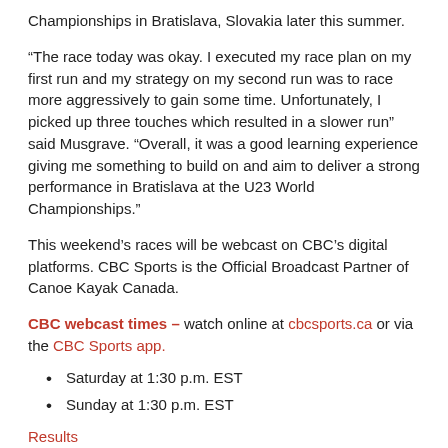Championships in Bratislava, Slovakia later this summer.
“The race today was okay. I executed my race plan on my first run and my strategy on my second run was to race more aggressively to gain some time. Unfortunately, I picked up three touches which resulted in a slower run” said Musgrave. “Overall, it was a good learning experience giving me something to build on and aim to deliver a strong performance in Bratislava at the U23 World Championships.”
This weekend’s races will be webcast on CBC’s digital platforms. CBC Sports is the Official Broadcast Partner of Canoe Kayak Canada.
CBC webcast times – watch online at cbcsports.ca or via the CBC Sports app.
Saturday at 1:30 p.m. EST
Sunday at 1:30 p.m. EST
Results
Summary of Results